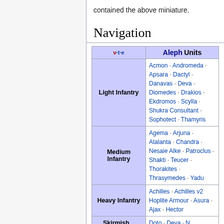contained the above miniature.
Navigation
| v·t·e | Aleph Units |
| --- | --- |
| Light Infantry | Acmon · Andromeda · Apsara · Dactyl · Danavas · Deva · Diomedes · Drakios · Ekdromos · Scylla · Shukra Consultant · Sophotect · Thamyris |
| Medium Infantry | Agema · Arjuna · Atalanta · Chandra · Nesaie Alke · Patroclus · Shakti · Teucer · Thorakites · Thrasymedes · Yadu |
| Heavy Infantry | Achilles · Achilles v2 Hoplite Armour · Asura · Ajax · Hector |
| Shieldsh... | Doto · Deva · N... |